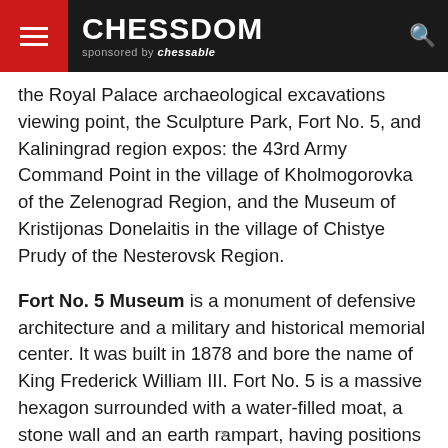CHESSDOM sponsored by chessable
the Royal Palace archaeological excavations viewing point, the Sculpture Park, Fort No. 5, and Kaliningrad region expos: the 43rd Army Command Point in the village of Kholmogorovka of the Zelenograd Region, and the Museum of Kristijonas Donelaitis in the village of Chistye Prudy of the Nesterovsk Region.
Fort No. 5 Museum is a monument of defensive architecture and a military and historical memorial center. It was built in 1878 and bore the name of King Frederick William III. Fort No. 5 is a massive hexagon surrounded with a water-filled moat, a stone wall and an earth rampart, having positions equipped for artillery weapons. During